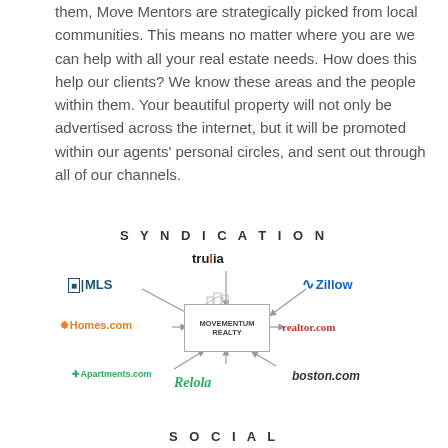them, Move Mentors are strategically picked from local communities. This means no matter where you are we can help with all your real estate needs. How does this help our clients? We know these areas and the people within them. Your beautiful property will not only be advertised across the internet, but it will be promoted within our agents' personal circles, and sent out through all of our channels.
SYNDICATION
[Figure (infographic): Syndication diagram showing MOVEMENTUM REALTY at center with arrows pointing to and from: trulia (above), MLS (upper left), Zillow (upper right), Homes.com (left), realtor.com (right), Apartments.com (lower left), Relola (below), boston.com (lower right)]
SOCIAL